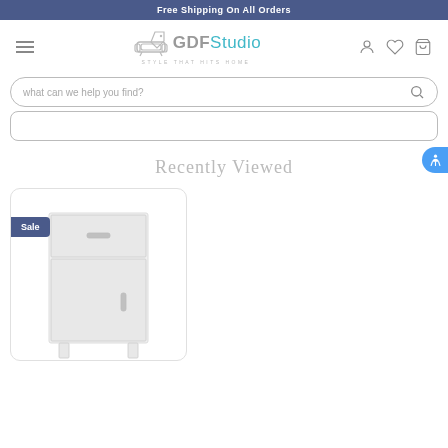Free Shipping On All Orders
[Figure (logo): GDFStudio logo with sofa icon and tagline 'Style That Hits Home']
what can we help you find?
Recently Viewed
[Figure (photo): White nightstand/side table with one drawer and one door cabinet, shown on white background. Sale badge in navy blue.]